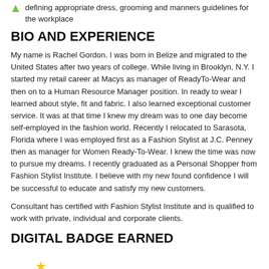defining appropriate dress, grooming and manners guidelines for the workplace
BIO AND EXPERIENCE
My name is Rachel Gordon. I was born in Belize and migrated to the United States after two years of college. While living in Brooklyn, N.Y. I started my retail career at Macys as manager of ReadyTo-Wear and then on to a Human Resource Manager position. In ready to wear I learned about style, fit and fabric. I also learned exceptional customer service. It was at that time I knew my dream was to one day become self-employed in the fashion world. Recently I relocated to Sarasota, Florida where I was employed first as a Fashion Stylist at J.C. Penney then as manager for Women Ready-To-Wear. I knew the time was now to pursue my dreams. I recently graduated as a Personal Shopper from Fashion Stylist Institute. I believe with my new found confidence I will be successful to educate and satisfy my new customers.
Consultant has certified with Fashion Stylist Institute and is qualified to work with private, individual and corporate clients.
DIGITAL BADGE EARNED
[Figure (logo): Fashion Stylist Institute circular badge/logo, partially visible at the bottom of the page]